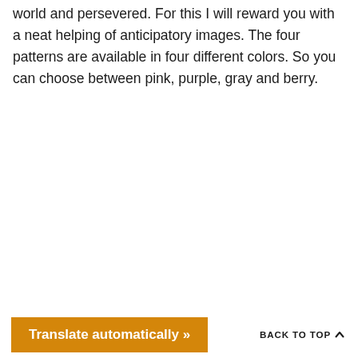world and persevered. For this I will reward you with a neat helping of anticipatory images. The four patterns are available in four different colors. So you can choose between pink, purple, gray and berry.
Translate automatically »   BACK TO TOP ^